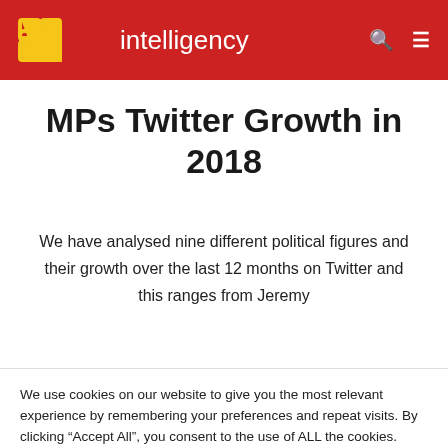intelligency
MPs Twitter Growth in 2018
We have analysed nine different political figures and their growth over the last 12 months on Twitter and this ranges from Jeremy
We use cookies on our website to give you the most relevant experience by remembering your preferences and repeat visits. By clicking "Accept All", you consent to the use of ALL the cookies. However, you may visit "Cookie Settings" to provide a controlled consent.